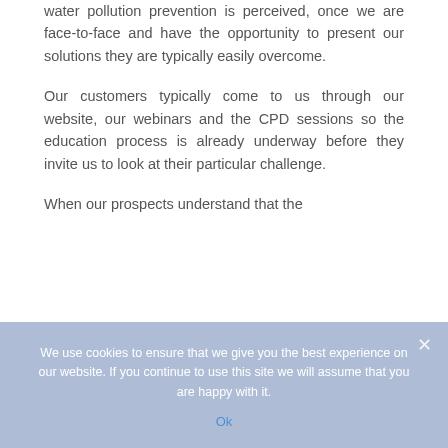water pollution prevention is perceived, once we are face-to-face and have the opportunity to present our solutions they are typically easily overcome.
Our customers typically come to us through our website, our webinars and the CPD sessions so the education process is already underway before they invite us to look at their particular challenge.
When our prospects understand that the
We use cookies to ensure that we give you the best experience on our website. If you continue to use this site we will assume that you are happy with it.
Ok